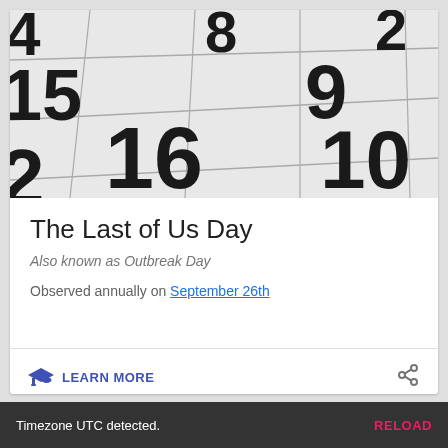[Figure (photo): Close-up photograph of a calendar page showing dates including 15, 16, 8, 9, 10, 2 in large bold black numerals on white grid squares, shot at an angle]
The Last of Us Day
Also known as Outbreak Day
Observed annually on September 26th
LEARN MORE
Timezone UTC detected.    RELOAD